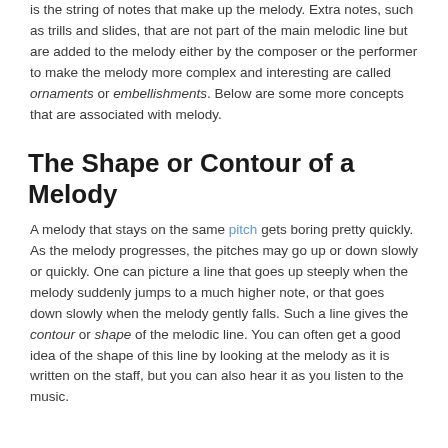is the string of notes that make up the melody. Extra notes, such as trills and slides, that are not part of the main melodic line but are added to the melody either by the composer or the performer to make the melody more complex and interesting are called ornaments or embellishments. Below are some more concepts that are associated with melody.
The Shape or Contour of a Melody
A melody that stays on the same pitch gets boring pretty quickly. As the melody progresses, the pitches may go up or down slowly or quickly. One can picture a line that goes up steeply when the melody suddenly jumps to a much higher note, or that goes down slowly when the melody gently falls. Such a line gives the contour or shape of the melodic line. You can often get a good idea of the shape of this line by looking at the melody as it is written on the staff, but you can also hear it as you listen to the music.